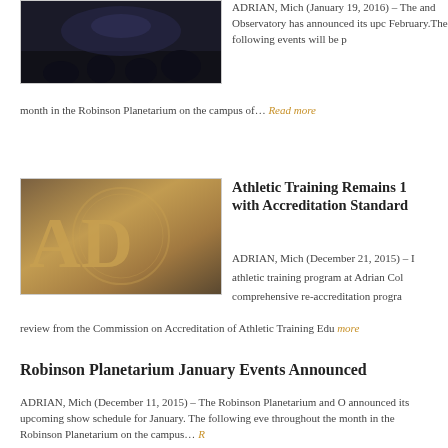[Figure (photo): Dark image of people in what appears to be a planetarium setting]
ADRIAN, Mich (January 19, 2016) – The and Observatory has announced its upc February.The following events will be p month in the Robinson Planetarium on the campus of… Read more
[Figure (photo): Close-up of an Adrian College sign/seal with gold letters 'AD' visible]
Athletic Training Remains 1 with Accreditation Standard
ADRIAN, Mich (December 21, 2015) – I athletic training program at Adrian Col comprehensive re-accreditation progra review from the Commission on Accreditation of Athletic Training Edu more
Robinson Planetarium January Events Announced
ADRIAN, Mich (December 11, 2015) – The Robinson Planetarium and O announced its upcoming show schedule for January. The following eve throughout the month in the Robinson Planetarium on the campus… R